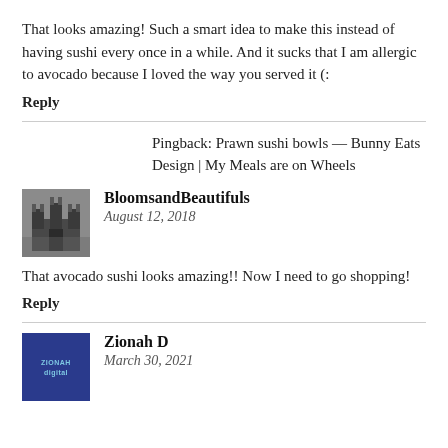That looks amazing! Such a smart idea to make this instead of having sushi every once in a while. And it sucks that I am allergic to avocado because I loved the way you served it (:
Reply
Pingback: Prawn sushi bowls — Bunny Eats Design | My Meals are on Wheels
BloomsandBeautifuls
August 12, 2018
That avocado sushi looks amazing!! Now I need to go shopping!
Reply
Zionah D
March 30, 2021